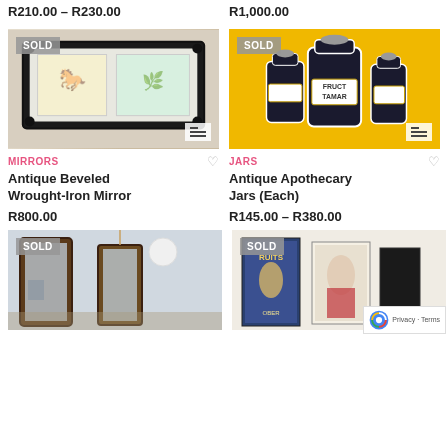R210.00 – R230.00
R1,000.00
[Figure (photo): Antique beveled wrought-iron mirror with SOLD badge and list icon]
[Figure (photo): Antique apothecary jars on yellow background with SOLD badge and list icon]
MIRRORS
Antique Beveled Wrought-Iron Mirror
R800.00
JARS
Antique Apothecary Jars (Each)
R145.00 – R380.00
[Figure (photo): Two wooden framed mirrors leaning against wall with SOLD badge]
[Figure (photo): Vintage art prints/posters on wall with SOLD badge]